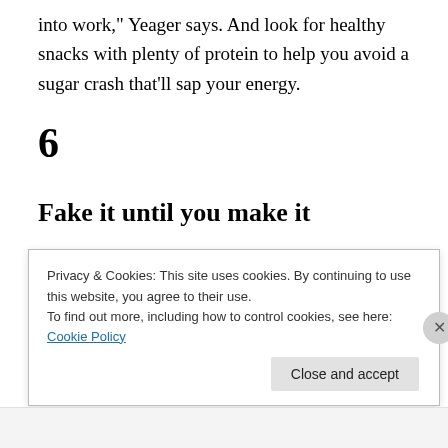into work,” Yeager says. And look for healthy snacks with plenty of protein to help you avoid a sugar crash that’ll sap your energy.
6
Fake it until you make it
After a year-plus at home, it’s going to take a lot of energy to put ourselves back out there—and we might sometimes
Privacy & Cookies: This site uses cookies. By continuing to use this website, you agree to their use.
To find out more, including how to control cookies, see here: Cookie Policy
Close and accept